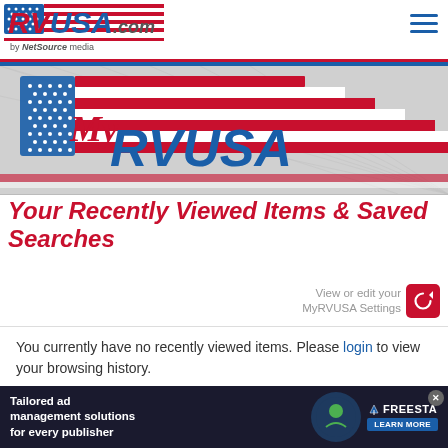RVUSA.com by NetSource media
[Figure (logo): MyRVUSA banner logo with American flag and stylized text]
Your Recently Viewed Items & Saved Searches
View or edit your MyRVUSA Settings
You currently have no recently viewed items. Please login to view your browsing history.
♥ My Favorites
[Figure (screenshot): Advertisement banner: Tailored ad management solutions for every publisher - FREESTAR LEARN MORE]